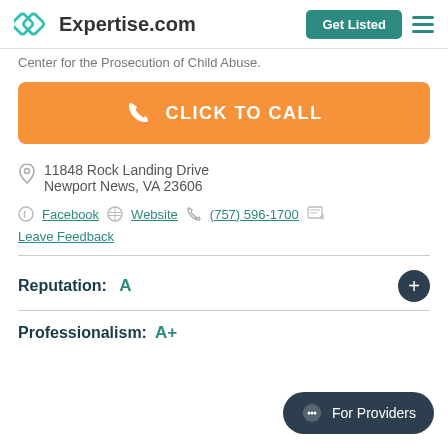Expertise.com  Get Listed
Center for the Prosecution of Child Abuse.
CLICK TO CALL
11848 Rock Landing Drive
Newport News, VA 23606
Facebook  Website  (757) 596-1700
Leave Feedback
Reputation:  A
Professionalism:  A+